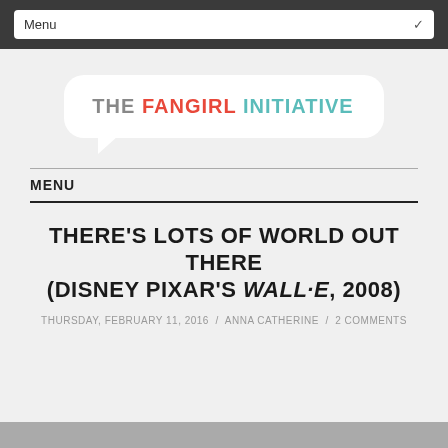Menu
[Figure (logo): The Fangirl Initiative logo in a speech bubble. 'THE' in gray, 'FANGIRL' in red, 'INITIATIVE' in teal.]
MENU
THERE'S LOTS OF WORLD OUT THERE (DISNEY PIXAR'S WALL·E, 2008)
THURSDAY, FEBRUARY 11, 2016 / ANNA CATHERINE / 2 COMMENTS